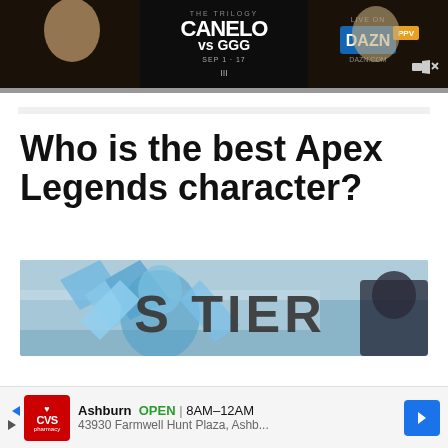[Figure (photo): Canelo vs GGG The Trilogy boxing advertisement banner on DAZN PPV, Sep 17 with two fighters facing each other]
Who is the best Apex Legends character?
[Figure (photo): S TIER text overlay on Apex Legends game artwork with blue icy character]
Ashburn OPEN | 8AM–12AM 43930 Farmwell Hunt Plaza, Ashb... CVS Pharmacy ad